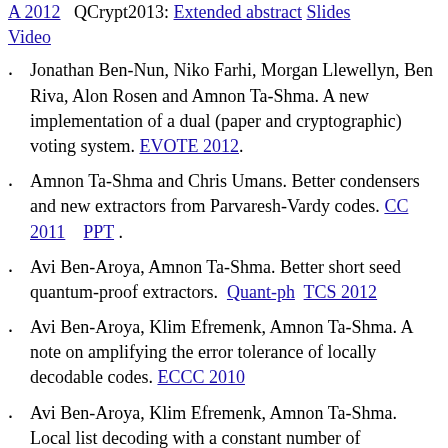A 2012  QCrypt2013: Extended abstract Slides Video
Jonathan Ben-Nun, Niko Farhi, Morgan Llewellyn, Ben Riva, Alon Rosen and Amnon Ta-Shma. A new implementation of a dual (paper and cryptographic) voting system. EVOTE 2012.
Amnon Ta-Shma and Chris Umans. Better condensers and new extractors from Parvaresh-Vardy codes. CC 2011    PPT .
Avi Ben-Aroya, Amnon Ta-Shma. Better short seed quantum-proof extractors.  Quant-ph  TCS 2012
Avi Ben-Aroya, Klim Efremenk, Amnon Ta-Shma. A note on amplifying the error tolerance of locally decodable codes. ECCC 2010
Avi Ben-Aroya, Klim Efremenk, Amnon Ta-Shma. Local list decoding with a constant number of